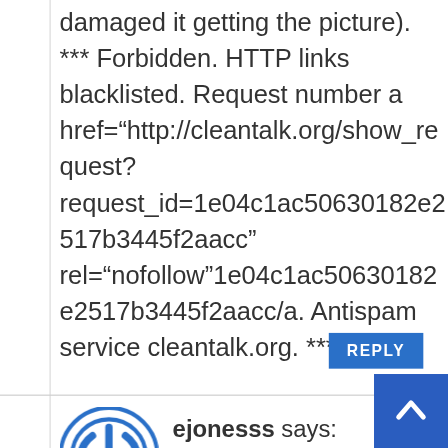damaged it getting the picture). *** Forbidden. HTTP links blacklisted. Request number a href="http://cleantalk.org/show_request?request_id=1e04c1ac50630182e2517b3445f2aacc" rel="nofollow"1e04c1ac50630182e2517b3445f2aacc/a. Antispam service cleantalk.org. ***
REPLY
ejonesss says:
April 27, 2014 at 9:31 pm